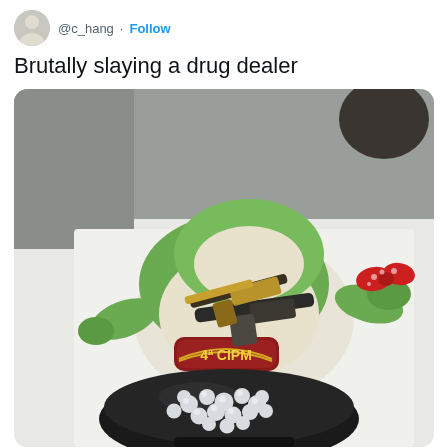@c_hang · Follow
Brutally slaying a drug dealer
[Figure (photo): Photo of a green and white Kermit-like stuffed animal toy lying on a white surface, wearing a red and yellow 4a CIPM badge patch, with two old-style pistols/guns on top of it, next to a black bag containing multiple small foil-wrapped drug packages.]